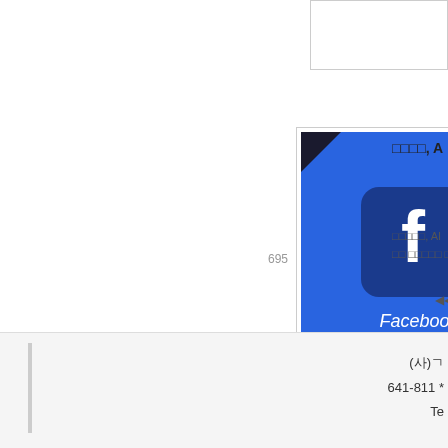695
[Figure (photo): Facebook logo on a blue background with 'YONHAP NEWS' watermark, shown in a card with a border]
□□□□, A[...]
□□□□□, AI □□ □□□□□ □
◀◀  □
(사)ㄱ
641-811 *
Te